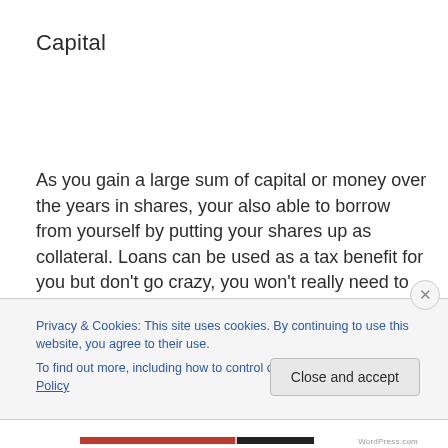Capital
As you gain a large sum of capital or money over the years in shares, your also able to borrow from yourself by putting your shares up as collateral. Loans can be used as a tax benefit for you but don’t go crazy, you won’t really need to take loans against yourself to avoid paying taxes
Privacy & Cookies: This site uses cookies. By continuing to use this website, you agree to their use.
To find out more, including how to control cookies, see here: Cookie Policy
Close and accept